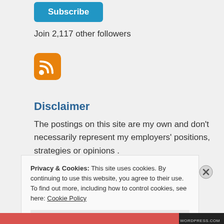[Figure (other): Blue Subscribe button]
Join 2,117 other followers
[Figure (other): RSS feed icon, orange rounded square with white wifi-like symbol]
Disclaimer
The postings on this site are my own and don't necessarily represent my employers' positions, strategies or opinions .
Privacy & Cookies: This site uses cookies. By continuing to use this website, you agree to their use.
To find out more, including how to control cookies, see here: Cookie Policy
Close and accept